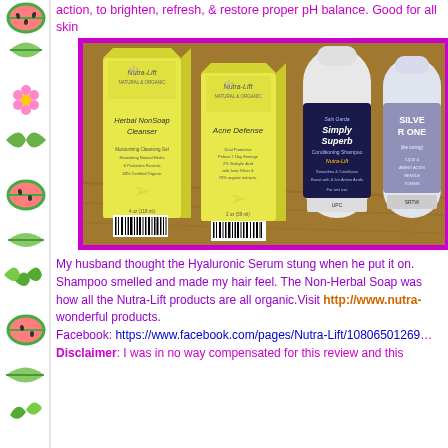action, to brighten, refresh, & restore proper pH balance. Good for all skin
[Figure (photo): Nutra-Lift product lineup: two yellow boxes (Herbal NonSoap Cleanser and Acne Defense) and two white bottles (Simply Superb Conditioning Shampoo and Silver One) on a wooden surface, framed in a purple/magenta border.]
My husband thought the Hyaluronic Serum stung when he put it on. Shampoo smelled and made my hair feel. The Non-Herbal Soap was how all the Nutra-Lift products are all organic.Visit http://www.nutra- wonderful products.
Facebook: https://www.facebook.com/pages/Nutra-Lift/10806501269
Disclaimer: I was in no way compensated for this review and this